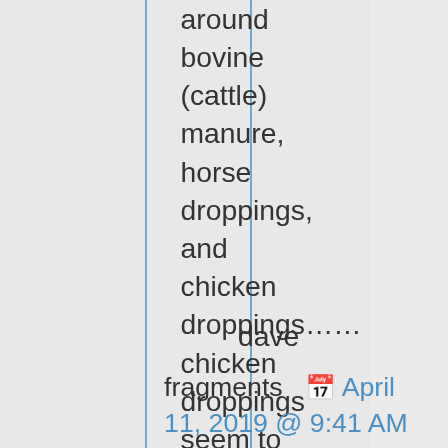around bovine (cattle) manure, horse droppings, and chicken droppings…… chicken droppings seem to have an almost bleach like scent.
dave
fragments  April 11, 2019 @ 9:41 AM